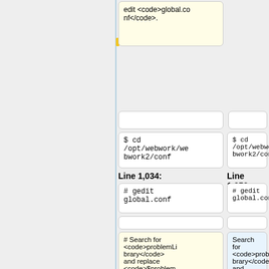edit <code>global.conf</code>.
$ cd /opt/webwork/webwork2/conf
$ cd /opt/webwork/webwork2/conf
Line 1,034:
Line 1,056:
# gedit global.conf
# gedit global.conf
# Search for <code>problemLibrary</code> and replace <code>$problemLibrary{root} = "";</code> by
Search for <code>problemLibrary</code> and replace <code>$problemLibrary{root} = "";</code> by